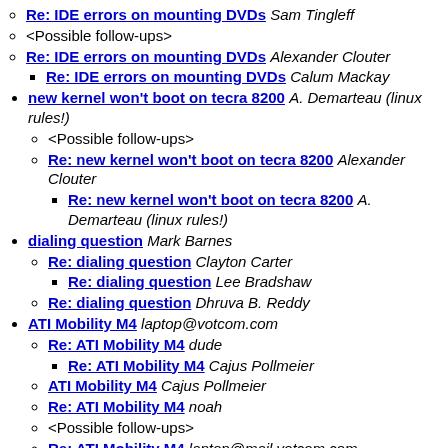Re: IDE errors on mounting DVDs Sam Tingleff
<Possible follow-ups>
Re: IDE errors on mounting DVDs Alexander Clouter
Re: IDE errors on mounting DVDs Calum Mackay
new kernel won't boot on tecra 8200 A. Demarteau (linux rules!)
<Possible follow-ups>
Re: new kernel won't boot on tecra 8200 Alexander Clouter
Re: new kernel won't boot on tecra 8200 A. Demarteau (linux rules!)
dialing question Mark Barnes
Re: dialing question Clayton Carter
Re: dialing question Lee Bradshaw
Re: dialing question Dhruva B. Reddy
ATI Mobility M4 laptop@votcom.com
Re: ATI Mobility M4 dude
Re: ATI Mobility M4 Cajus Pollmeier
ATI Mobility M4 Cajus Pollmeier
Re: ATI Mobility M4 noah
<Possible follow-ups>
Re: ATI Mobility M4 laptop@mail.votcom.com
Acer Travel Mate 610TXV Osvaldo